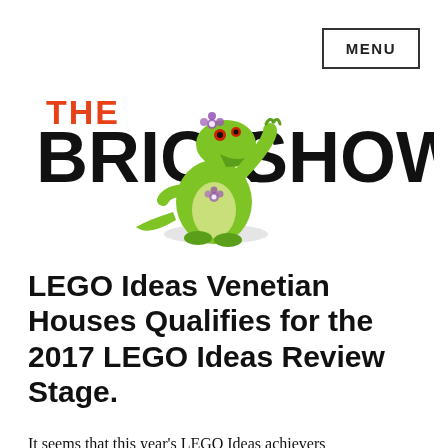MENU
[Figure (logo): The Brick Show logo with cartoon green crocodile mascot between large bold black text reading BRICK SHOW and orange text THE above]
LEGO Ideas Venetian Houses Qualifies for the 2017 LEGO Ideas Review Stage.
It seems that this year's LEGO Ideas achievers